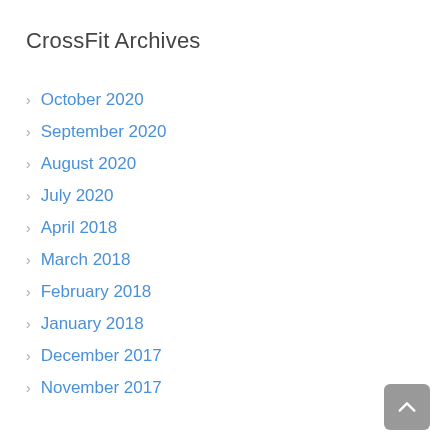CrossFit Archives
October 2020
September 2020
August 2020
July 2020
April 2018
March 2018
February 2018
January 2018
December 2017
November 2017